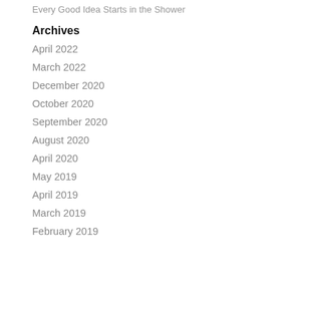Every Good Idea Starts in the Shower
Archives
April 2022
March 2022
December 2020
October 2020
September 2020
August 2020
April 2020
May 2019
April 2019
March 2019
February 2019